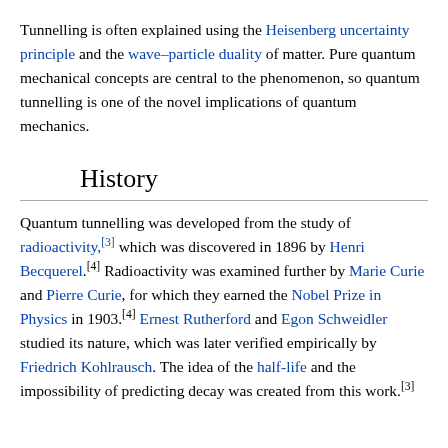Tunnelling is often explained using the Heisenberg uncertainty principle and the wave–particle duality of matter. Pure quantum mechanical concepts are central to the phenomenon, so quantum tunnelling is one of the novel implications of quantum mechanics.
History
Quantum tunnelling was developed from the study of radioactivity,[3] which was discovered in 1896 by Henri Becquerel.[4] Radioactivity was examined further by Marie Curie and Pierre Curie, for which they earned the Nobel Prize in Physics in 1903.[4] Ernest Rutherford and Egon Schweidler studied its nature, which was later verified empirically by Friedrich Kohlrausch. The idea of the half-life and the impossibility of predicting decay was created from this work.[3]